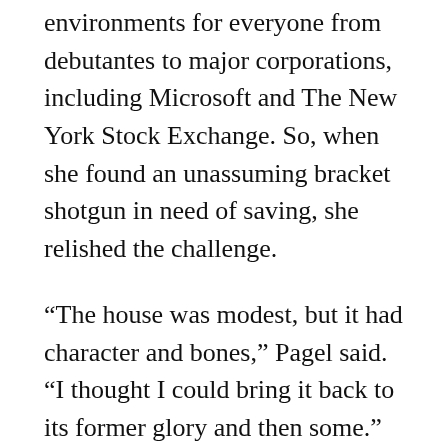environments for everyone from debutantes to major corporations, including Microsoft and The New York Stock Exchange. So, when she found an unassuming bracket shotgun in need of saving, she relished the challenge.
“The house was modest, but it had character and bones,” Pagel said.  “I thought I could bring it back to its former glory and then some.”
The California native first fell in love with New Orleans when she attended Tulane. Today, she makes her home base in the Big Easy, where she has cemented the role as one of the